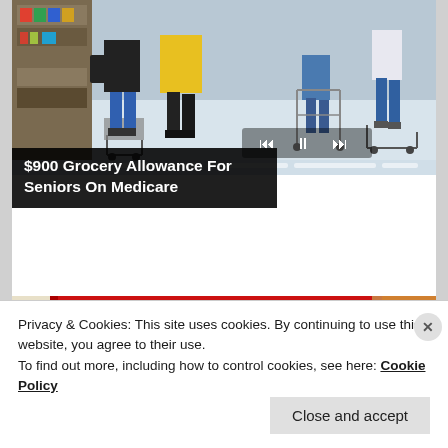[Figure (photo): Photo of people shopping in a grocery store, pushing carts down an aisle, viewed from behind. Media playback controls and progress bar visible at bottom of image.]
$900 Grocery Allowance For Seniors On Medicare
[Figure (photo): Photo of a red sign reading 'WELCOME TO MARINE CORPS BASE CAMP LEJEUNE' in yellow letters.]
Privacy & Cookies: This site uses cookies. By continuing to use this website, you agree to their use.
To find out more, including how to control cookies, see here: Cookie Policy
Close and accept